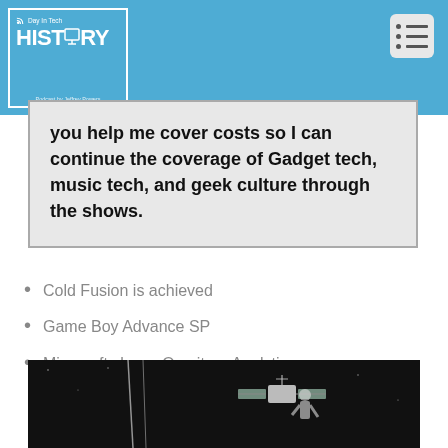Day In Tech HISTORY - Podcast by Jeffrey Powers
you help me cover costs so I can continue the coverage of Gadget tech, music tech, and geek culture through the shows.
Cold Fusion is achieved
Game Boy Advance SP
Microsoft closes Omniture Analytics.
[Figure (photo): Dark/black background space scene with what appears to be a satellite and possibly an astronaut or space equipment silhouetted against black sky]